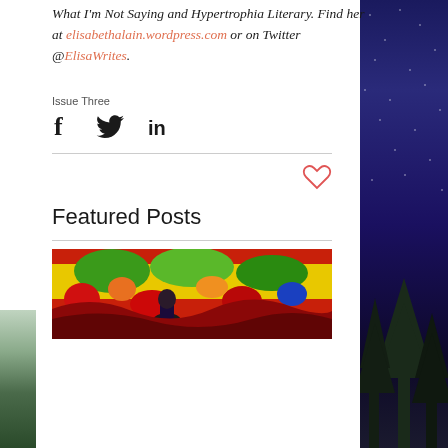What I'm Not Saying and Hypertrophia Literary. Find her at elisabethalain.wordpress.com or on Twitter @ElisaWrites.
Issue Three
[Figure (infographic): Social media share icons: Facebook (f), Twitter (bird), LinkedIn (in)]
[Figure (infographic): Heart/like button icon (outline heart in salmon/red color)]
Featured Posts
[Figure (photo): Colorful psychedelic artwork showing a figure surrounded by vivid flowers and abstract patterns in red, yellow, green and blue.]